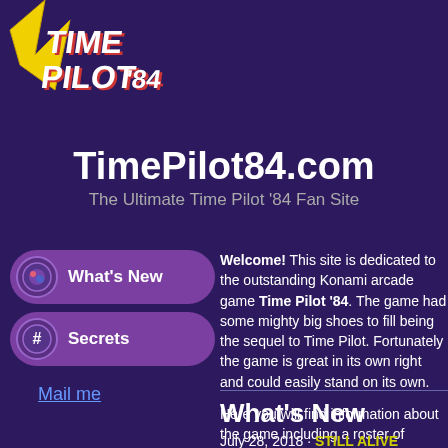[Figure (logo): Time Pilot '84 retro arcade game logo with stylized yellow lightning bolt and 3D pixel text]
TimePilot84.com
The Ultimate Time Pilot '84 Fan Site
What's New
Secrets
Mail me
Welcome! This site is dedicated to the outstanding Konami arcade game Time Pilot '84. The game had some mighty big shoes to fill being the sequel to Time Pilot. Fortunately the game is great in its own right and could easily stand on its own.
Here you will find information about the game including a roster of enemies, strategies, and secrets. So kick back and stroll around. And if you're so inclined, let me know what you think.
What's New
July 28, 2018 · STILL ALIVE